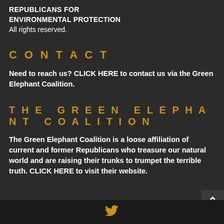REPUBLICANS FOR ENVIRONMENTAL PROTECTION
All rights reserved.
CONTACT
Need to reach us? CLICK HERE to contact us via the Green Elephant Coalition.
THE GREEN ELEPHANT COALITION
The Green Elephant Coalition is a loose affiliation of current and former Republicans who treasure our natural world and are raising their trunks to trumpet the terrible truth. CLICK HERE to visit their website.
[Figure (logo): Twitter bird icon in gold/amber color in the footer bar]